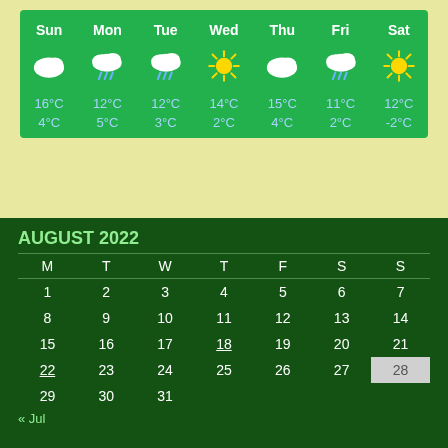| Sun | Mon | Tue | Wed | Thu | Fri | Sat |
| --- | --- | --- | --- | --- | --- | --- |
| [cloud] | [rain] | [rain] | [sun] | [cloud] | [rain] | [sun] |
| 16°C / 4°C | 12°C / 5°C | 12°C / 3°C | 14°C / 2°C | 15°C / 4°C | 11°C / 2°C | 12°C / -2°C |
AUGUST 2022
| M | T | W | T | F | S | S |
| --- | --- | --- | --- | --- | --- | --- |
| 1 | 2 | 3 | 4 | 5 | 6 | 7 |
| 8 | 9 | 10 | 11 | 12 | 13 | 14 |
| 15 | 16 | 17 | 18 | 19 | 20 | 21 |
| 22 | 23 | 24 | 25 | 26 | 27 | 28 |
| 29 | 30 | 31 |  |  |  |  |
« Jul